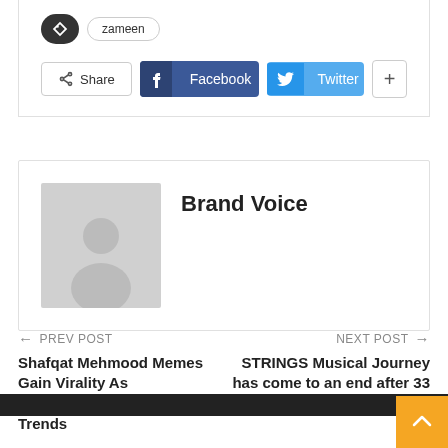[Figure (other): Tag icon (dark pill shape) and tag pill labeled 'zameen', followed by social share buttons: Share, Facebook, Twitter, plus button]
[Figure (other): Author avatar placeholder (grey silhouette person) next to author name 'Brand Voice']
Brand Voice
← PREV POST
Shafqat Mehmood Memes Gain Virality As #CancelExamsPakistan2021 Trends
NEXT POST →
STRINGS Musical Journey has come to an end after 33 Years.